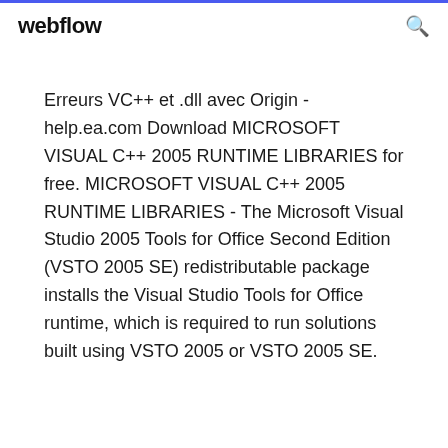webflow
Erreurs VC++ et .dll avec Origin - help.ea.com Download MICROSOFT VISUAL C++ 2005 RUNTIME LIBRARIES for free. MICROSOFT VISUAL C++ 2005 RUNTIME LIBRARIES - The Microsoft Visual Studio 2005 Tools for Office Second Edition (VSTO 2005 SE) redistributable package installs the Visual Studio Tools for Office runtime, which is required to run solutions built using VSTO 2005 or VSTO 2005 SE.